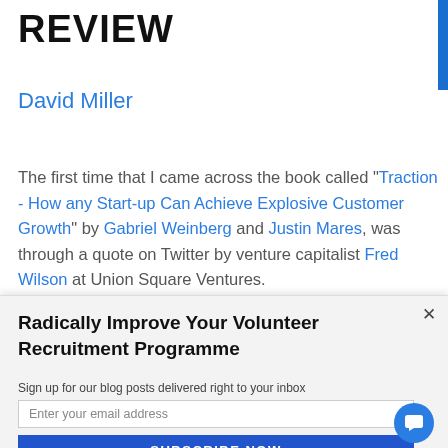REVIEW
David Miller
The first time that I came across the book called "Traction - How any Start-up Can Achieve Explosive Customer Growth" by Gabriel Weinberg and Justin Mares, was through a quote on Twitter by venture capitalist Fred Wilson at Union Square Ventures.
Radically Improve Your Volunteer Recruitment Programme
Sign up for our blog posts delivered right to your inbox
Enter your email address
SUBSCRIBE NOW